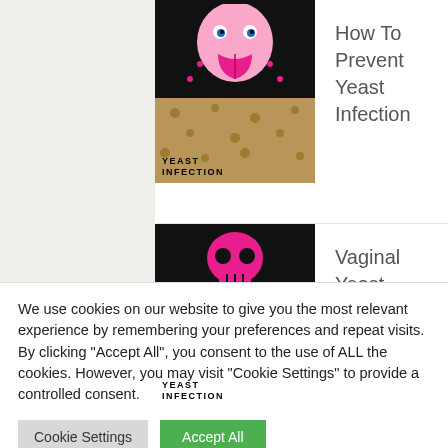How To Prevent Yeast Infection
Vaginal Yeast Infection Treatment
Yeast Infection Medicine
We use cookies on our website to give you the most relevant experience by remembering your preferences and repeat visits. By clicking "Accept All", you consent to the use of ALL the cookies. However, you may visit "Cookie Settings" to provide a controlled consent.